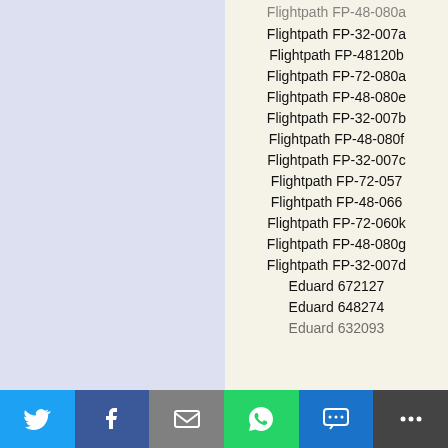Flightpath FP-32-007a
Flightpath FP-48120b
Flightpath FP-72-080a
Flightpath FP-48-080e
Flightpath FP-32-007b
Flightpath FP-48-080f
Flightpath FP-32-007c
Flightpath FP-72-057
Flightpath FP-48-066
Flightpath FP-72-060k
Flightpath FP-48-080g
Flightpath FP-32-007d
Eduard 672127
Eduard 648274
Eduard 632093